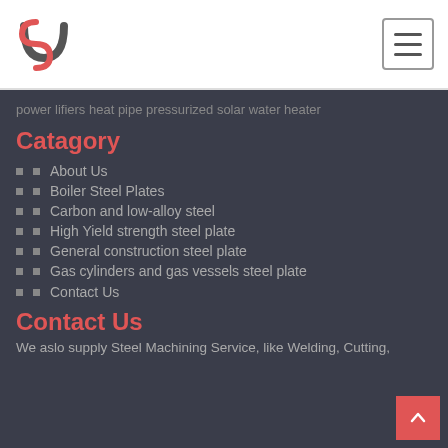[Figure (logo): Stylized 'UN' or hook logo in red and dark gray]
power lifiers heat pipe pressurized solar water heater
Catagory
About Us
Boiler Steel Plates
Carbon and low-alloy steel
High Yield strength steel plate
General construction steel plate
Gas cylinders and gas vessels steel plate
Contact Us
Contact Us
We aslo supply Steel Machining Service, like Welding, Cutting,